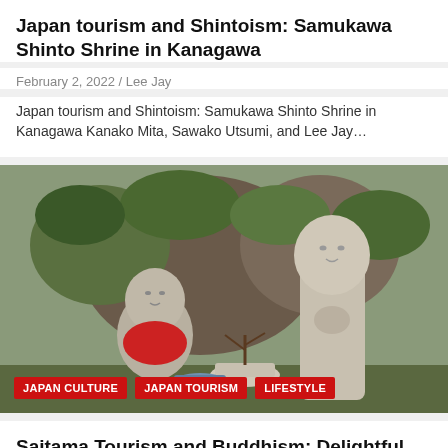Japan tourism and Shintoism: Samukawa Shinto Shrine in Kanagawa
February 2, 2022 / Lee Jay
Japan tourism and Shintoism: Samukawa Shinto Shrine in Kanagawa Kanako Mita, Sawako Utsumi, and Lee Jay…
[Figure (photo): Two stone Buddhist statues in a garden setting. The left statue is smaller and wearing a red bib/cloth. The right statue is taller with hands clasped in prayer. Tags overlaid: JAPAN CULTURE, JAPAN TOURISM, LIFESTYLE]
Saitama Tourism and Buddhism: Delightful